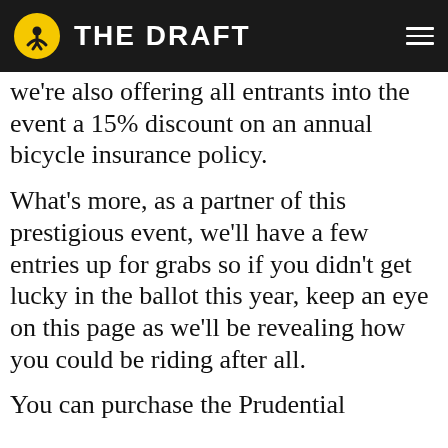THE DRAFT
we're also offering all entrants into the event a 15% discount on an annual bicycle insurance policy.
What's more, as a partner of this prestigious event, we'll have a few entries up for grabs so if you didn't get lucky in the ballot this year, keep an eye on this page as we'll be revealing how you could be riding after all.
You can purchase the Prudential